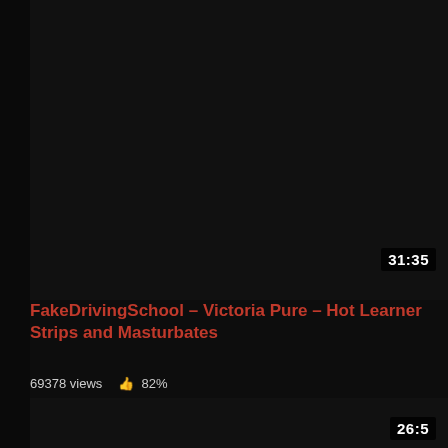[Figure (screenshot): Dark video thumbnail area at top portion of page]
31:35
FakeDrivingSchool – Victoria Pure – Hot Learner Strips and Masturbates
69378 views  👍 82%
[Figure (screenshot): Dark video thumbnail area at bottom of page, partially cropped]